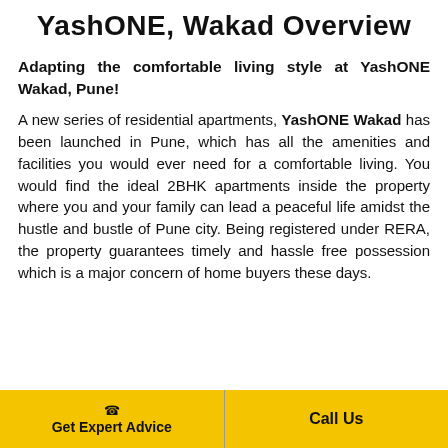YashONE, Wakad Overview
Adapting the comfortable living style at YashONE Wakad, Pune!
A new series of residential apartments, YashONE Wakad has been launched in Pune, which has all the amenities and facilities you would ever need for a comfortable living. You would find the ideal 2BHK apartments inside the property where you and your family can lead a peaceful life amidst the hustle and bustle of Pune city. Being registered under RERA, the property guarantees timely and hassle free possession which is a major concern of home buyers these days.
Get Expert Advice | Call Us